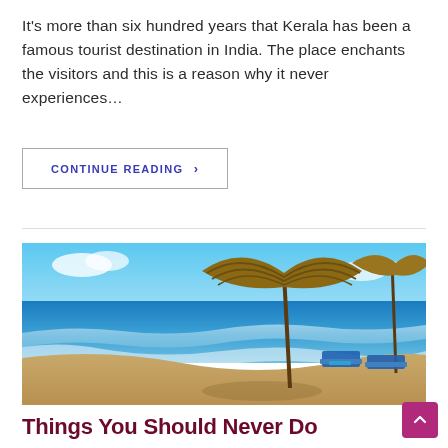It's more than six hundred years that Kerala has been a famous tourist destination in India. The place enchants the visitors and this is a reason why it never experiences…
CONTINUE READING ›
[Figure (photo): Beach scene with thatched umbrella, blue ocean waves, sandy shore, and blue lounge chairs in background]
Things You Should Never Do